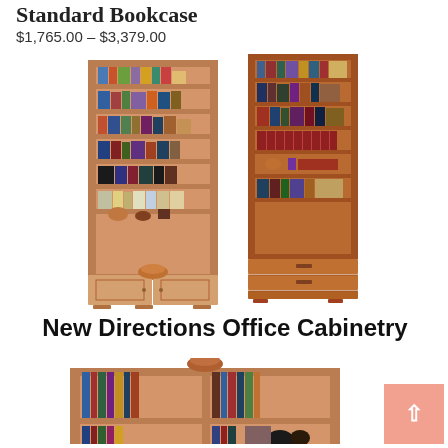Standard Bookcase
$1,765.00 – $3,379.00
[Figure (photo): Two tall wooden bookcases filled with books and decorative items, one with a cabinet base and one with a drawer base, shown in light natural wood finish.]
New Directions Office Cabinetry
[Figure (photo): A low wooden shelf/bookcase unit in natural wood, with books and decorative objects on the shelves, partially visible at the bottom of the page.]